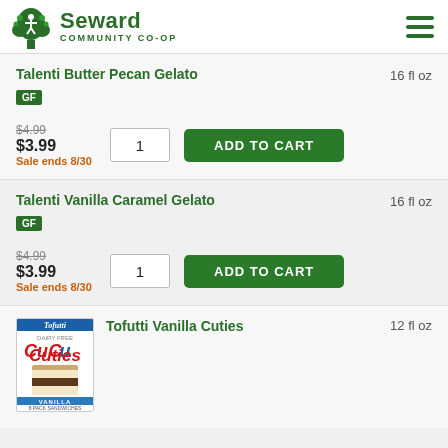Seward Community Co-op
Talenti Butter Pecan Gelato GF 16 fl oz $4.99 $3.99 Sale ends 8/30
Talenti Vanilla Caramel Gelato GF 16 fl oz $4.99 $3.99 Sale ends 8/30
Tofutti Vanilla Cuties 12 fl oz